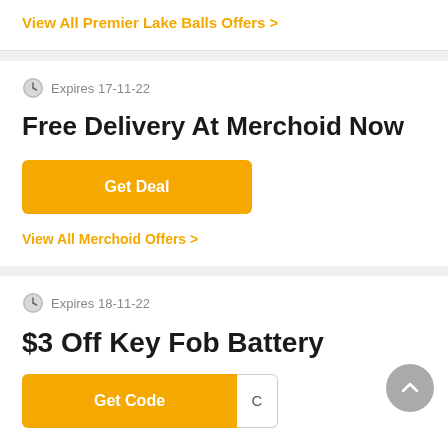View All Premier Lake Balls Offers >
Expires 17-11-22
Free Delivery At Merchoid Now
Get Deal
View All Merchoid Offers >
Expires 18-11-22
$3 Off Key Fob Battery
Get Code